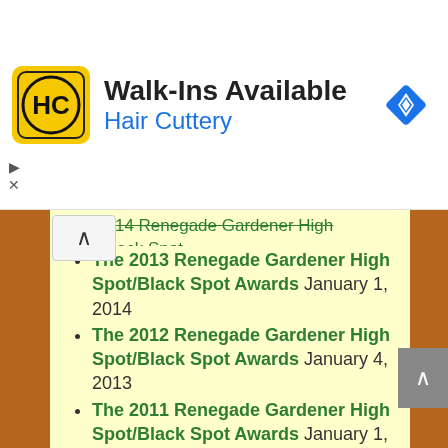[Figure (screenshot): Hair Cuttery advertisement banner with logo (HC in yellow circle), text 'Walk-Ins Available' and 'Hair Cuttery', and blue diamond navigation icon]
The 2014 Renegade Gardener High Spot/Black Spot Awards January 7, 2015 (partial, top cut off)
The 2013 Renegade Gardener High Spot/Black Spot Awards January 1, 2014
The 2012 Renegade Gardener High Spot/Black Spot Awards January 4, 2013
The 2011 Renegade Gardener High Spot/Black Spot Awards January 1, 2012
The 2010 Renegade Gardener High Spot/Black Spot Awards January 1, 2011
The 2009 Renegade Gardener High Spot/Black Spot Awards January 1, 2010
The 2008 Renegade Gardener High Spot/Black Spot Awards January 1, 2009